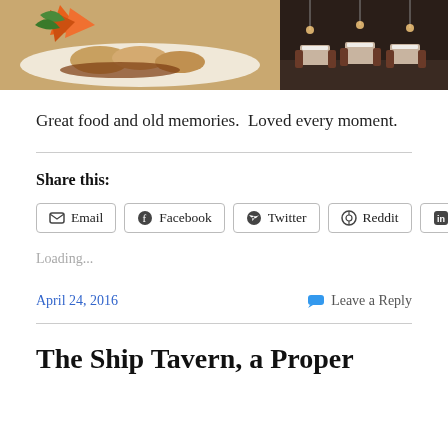[Figure (photo): Two side-by-side restaurant photos: left shows a plate of food with sauce and garnish, right shows a restaurant dining room interior with tables and chairs]
Great food and old memories.  Loved every moment.
Share this:
Email  Facebook  Twitter  Reddit  LinkedIn
Loading...
April 24, 2016
Leave a Reply
The Ship Tavern, a Proper